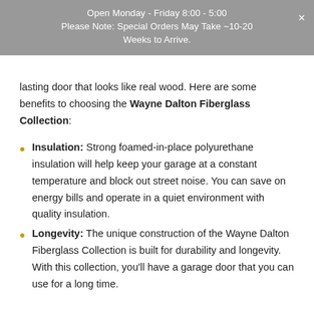Open Monday - Friday 8:00 - 5:00
Please Note: Special Orders May Take ~10-20 Weeks to Arrive.
lasting door that looks like real wood. Here are some benefits to choosing the Wayne Dalton Fiberglass Collection:
Insulation: Strong foamed-in-place polyurethane insulation will help keep your garage at a constant temperature and block out street noise. You can save on energy bills and operate in a quiet environment with quality insulation.
Longevity: The unique construction of the Wayne Dalton Fiberglass Collection is built for durability and longevity. With this collection, you'll have a garage door that you can use for a long time.